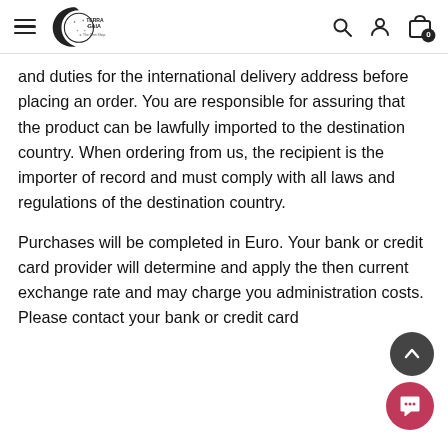Terra Gaia - The Gem Shop navigation header
and duties for the international delivery address before placing an order. You are responsible for assuring that the product can be lawfully imported to the destination country. When ordering from us, the recipient is the importer of record and must comply with all laws and regulations of the destination country.
Purchases will be completed in Euro. Your bank or credit card provider will determine and apply the then current exchange rate and may charge you administration costs. Please contact your bank or credit card